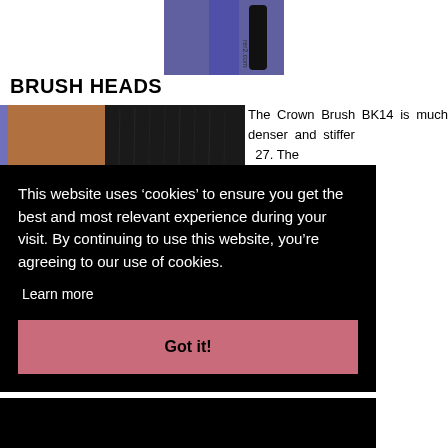[Figure (photo): Close-up photo of a purple/black makeup brush handle with text visible on the side]
BRUSH HEADS
[Figure (photo): Close-up of brush heads showing two brushes side by side — one reddish-brown and one black dense brush head against a purple background]
The Crown Brush BK14 is much denser and stiffer than the MAC 227. The ...a great ...ing the it's great ...e 227 ...he MAC ...e it's not ...n Brush ...hat can ...ss than ...eating a
This website uses ‘cookies’ to ensure you get the best and most relevant experience during your visit. By continuing to use this website, you’re agreeing to our use of cookies.
Learn more
Got it!